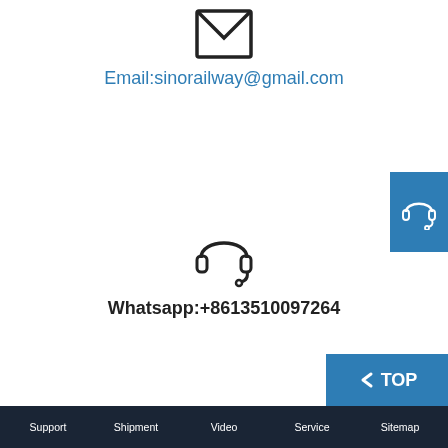[Figure (illustration): Envelope/email icon (outlined square with V-shaped flap)]
Email:sinorailway@gmail.com
[Figure (illustration): Headset/customer support icon (circular headphones with microphone)]
Whatsapp:+8613510097264
[Figure (illustration): Blue sidebar panel with white headset icon]
[Figure (illustration): Blue TOP button with left chevron arrow]
Support   Shipment   Video   Service   Sitemap